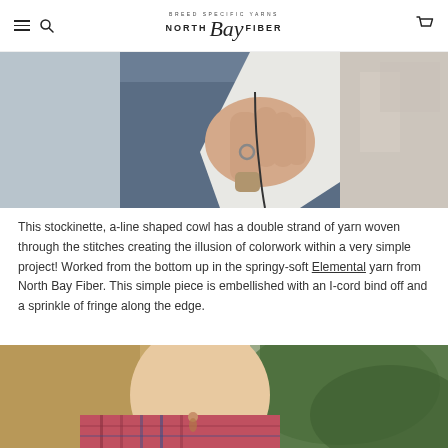North Bay Fiber — Breed Specific Yarns
[Figure (photo): Close-up photo of a person's hand resting on their jeans, wearing a ring, leaning against a white peeling paint wall]
This stockinette, a-line shaped cowl has a double strand of yarn woven through the stitches creating the illusion of colorwork within a very simple project! Worked from the bottom up in the springy-soft Elemental yarn from North Bay Fiber. This simple piece is embellished with an I-cord bind off and a sprinkle of fringe along the edge.
[Figure (photo): Close-up photo of a woman with blonde hair wearing a plaid shirt, with green foliage blurred in the background]